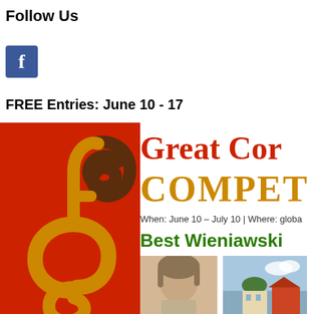Follow Us
[Figure (logo): Facebook logo icon - blue square with white letter f]
FREE Entries: June 10 - 17
[Figure (infographic): Great Composers Competition poster. Left side: red background with golden treble clef logo. Right side: text reading 'Great Co...' in red, 'COMPET...' in gold/orange, 'When: June 10 – July 10 | Where: globa...', 'Best Wieniawski' in green, with portrait of a composer and a building/city image below.]